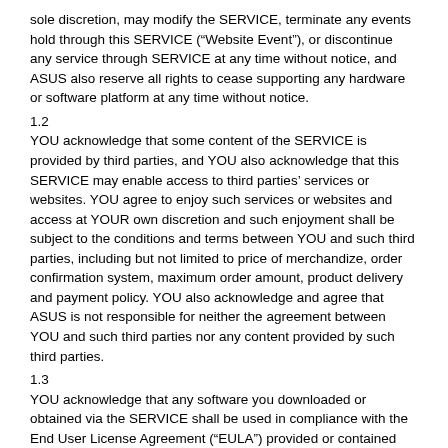sole discretion, may modify the SERVICE, terminate any events hold through this SERVICE (“Website Event”), or discontinue any service through SERVICE at any time without notice, and ASUS also reserve all rights to cease supporting any hardware or software platform at any time without notice.
1.2
YOU acknowledge that some content of the SERVICE is provided by third parties, and YOU also acknowledge that this SERVICE may enable access to third parties’ services or websites. YOU agree to enjoy such services or websites and access at YOUR own discretion and such enjoyment shall be subject to the conditions and terms between YOU and such third parties, including but not limited to price of merchandize, order confirmation system, maximum order amount, product delivery and payment policy. YOU also acknowledge and agree that ASUS is not responsible for neither the agreement between YOU and such third parties nor any content provided by such third parties.
1.3
YOU acknowledge that any software you downloaded or obtained via the SERVICE shall be used in compliance with the End User License Agreement (“EULA”) provided or contained therein.
1.4
YOU acknowledge that nothing in thethis NOTICE gives YOU a right to use any of ASUS’s trademarks, service marks, product or service names, slogans, logos or images unless YOU have agreed otherwise in writing with ASUS.